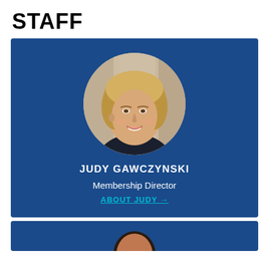STAFF
[Figure (photo): Staff profile card for Judy Gawczynski, Membership Director, on a dark blue background. Features a circular headshot photo of a smiling woman with short blonde hair wearing a dark top.]
JUDY GAWCZYNSKI
Membership Director
ABOUT JUDY →
[Figure (photo): Partial view of a second staff profile card on a dark blue background, showing the top of a person's head.]